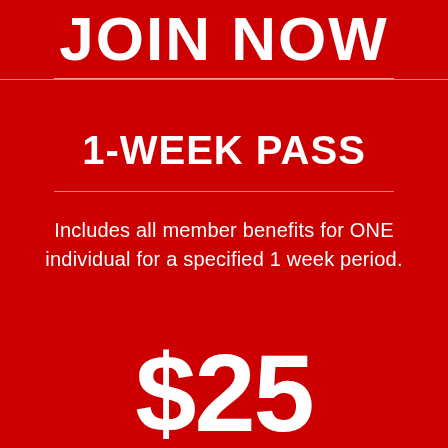JOIN NOW
1-WEEK PASS
Includes all member benefits for ONE individual for a specified 1 week period.
$25